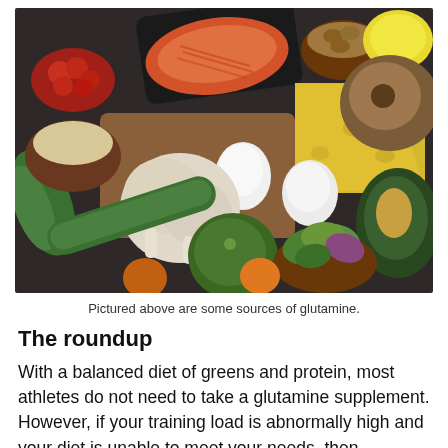[Figure (photo): Overhead flat-lay photograph of various glutamine food sources including salmon fillet, eggs, chicken legs, cheese wedge, coconut, avocado, cucumber, zucchini, salad greens in bowl, seeds, red berries, nuts, lemon, and orange fruit arranged on a dark surface]
Pictured above are some sources of glutamine.
The roundup
With a balanced diet of greens and protein, most athletes do not need to take a glutamine supplement. However, if your training load is abnormally high and your diet is unable to meet your needs, then supplementation may be beneficial.